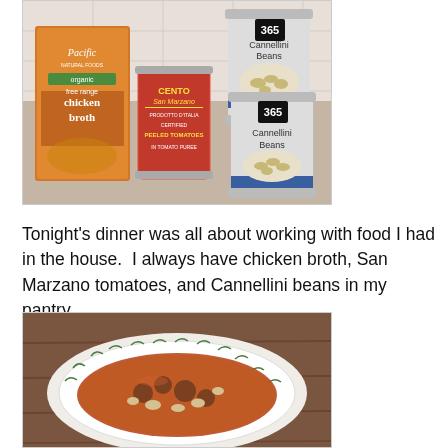[Figure (photo): Photo of food pantry ingredients on a kitchen counter: Pacific Natural Foods organic free range chicken broth box (orange), Cento San Marzano certified peeled tomatoes can (red), and two 365 brand Cannellini Beans cans, all on a granite countertop.]
Tonight's dinner was all about working with food I had in the house.  I always have chicken broth, San Marzano tomatoes, and Cannellini beans in my pantry.
[Figure (photo): Photo of a bowl of soup with meatballs, cannellini beans, and tomato broth, served in a white bowl with green leaf border pattern, on a wooden surface.]